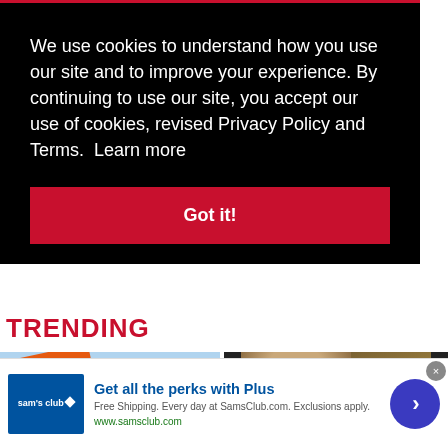We use cookies to understand how you use our site and to improve your experience. By continuing to use our site, you accept our use of cookies, revised Privacy Policy and Terms. Learn more
Got it!
TRENDING
[Figure (photo): Orange real estate sign with 'RE' text, against blue sky background]
[Figure (photo): Close-up of bald man's head and another man's face]
[Figure (advertisement): Sam's Club advertisement: Get all the perks with Plus. Free Shipping. Every day at SamsClub.com. Exclusions apply. www.samsclub.com]